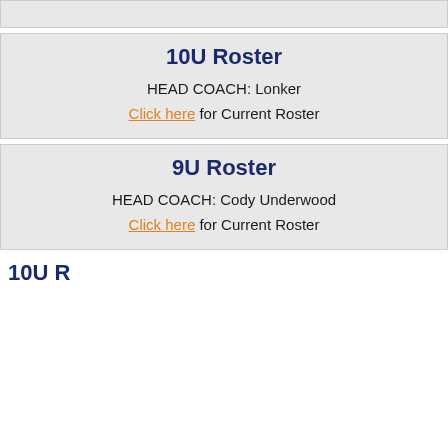10U Roster
HEAD COACH:  Lonker
Click here for Current Roster
9U Roster
HEAD COACH:  Cody Underwood
Click here for Current Roster
10U Roster